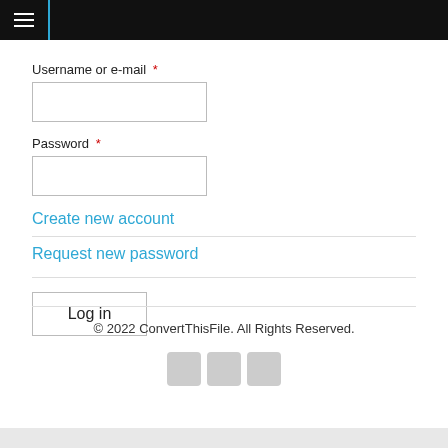≡ (hamburger menu)
Username or e-mail *
Password *
Create new account
Request new password
Log in
© 2022 ConvertThisFile. All Rights Reserved.